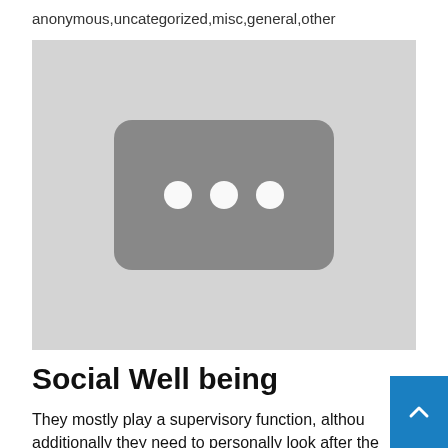anonymous,uncategorized,misc,general,other
[Figure (screenshot): A placeholder image with a gray background containing a YouTube-style play button icon (dark rounded rectangle with three white dots)]
Social Well being
They mostly play a supervisory function, although additionally they need to personally look after the